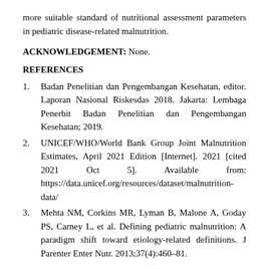more suitable standard of nutritional assessment parameters in pediatric disease-related malnutrition.
ACKNOWLEDGEMENT: None.
REFERENCES
1. Badan Penelitian dan Pengembangan Kesehatan, editor. Laporan Nasional Riskesdas 2018. Jakarta: Lembaga Penerbit Badan Penelitian dan Pengembangan Kesehatan; 2019.
2. UNICEF/WHO/World Bank Group Joint Malnutrition Estimates, April 2021 Edition [Internet]. 2021 [cited 2021 Oct 5]. Available from: https://data.unicef.org/resources/dataset/malnutrition-data/
3. Mehta NM, Corkins MR, Lyman B, Malone A, Goday PS, Carney L, et al. Defining pediatric malnutrition: A paradigm shift toward etiology-related definitions. J Parenter Enter Nutr. 2013;37(4):460–81.